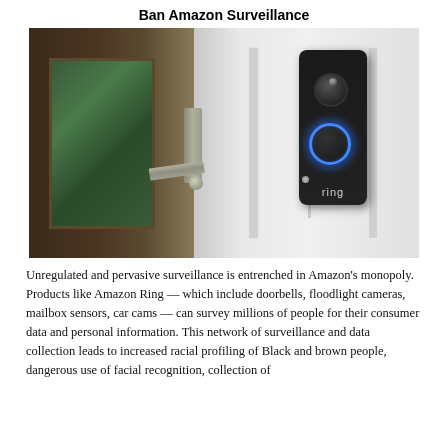Ban Amazon Surveillance
[Figure (photo): Close-up photograph of a Ring doorbell camera mounted on a white door frame next to a door with a handle, showing the black Ring device with its glowing blue ring button and camera lens, with the 'ring' logo visible at the bottom of the device.]
Unregulated and pervasive surveillance is entrenched in Amazon's monopoly. Products like Amazon Ring — which include doorbells, floodlight cameras, mailbox sensors, car cams — can survey millions of people for their consumer data and personal information. This network of surveillance and data collection leads to increased racial profiling of Black and brown people, dangerous use of facial recognition, collection of